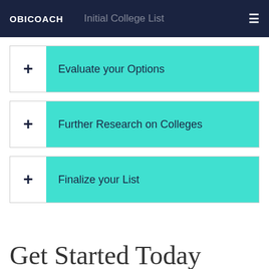OBICOACH  Initial College List
+ Evaluate your Options
+ Further Research on Colleges
+ Finalize your List
Get Started Today